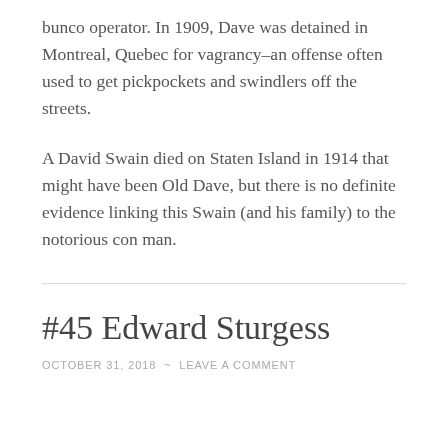bunco operator. In 1909, Dave was detained in Montreal, Quebec for vagrancy–an offense often used to get pickpockets and swindlers off the streets.
A David Swain died on Staten Island in 1914 that might have been Old Dave, but there is no definite evidence linking this Swain (and his family) to the notorious con man.
#45 Edward Sturgess
OCTOBER 31, 2018  ~  LEAVE A COMMENT